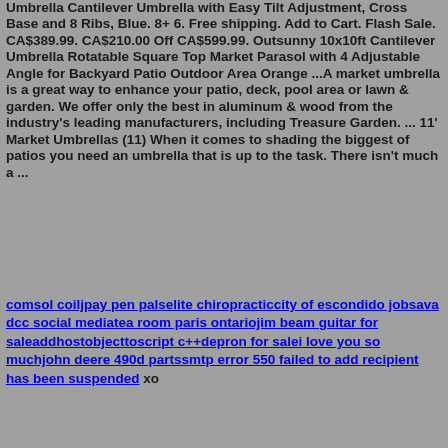Umbrella Cantilever Umbrella with Easy Tilt Adjustment, Cross Base and 8 Ribs, Blue. 8+ 6. Free shipping. Add to Cart. Flash Sale. CA$389.99. CA$210.00 Off CA$599.99. Outsunny 10x10ft Cantilever Umbrella Rotatable Square Top Market Parasol with 4 Adjustable Angle for Backyard Patio Outdoor Area Orange ...A market umbrella is a great way to enhance your patio, deck, pool area or lawn & garden. We offer only the best in aluminum & wood from the industry's leading manufacturers, including Treasure Garden. ... 11' Market Umbrellas (11) When it comes to shading the biggest of patios you need an umbrella that is up to the task. There isn't much a ...
comsol coiljpay pen palselite chiropracticcity of escondido jobsava dcc social mediatea room paris ontariojim beam guitar for saleaddhostobjecttoscript c++depron for salei love you so muchjohn deere 490d partssmtp error 550 failed to add recipient has been suspended xo